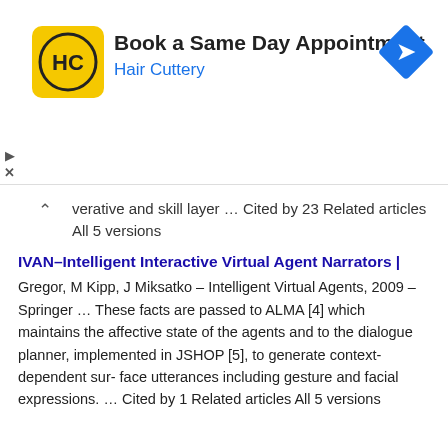[Figure (other): Hair Cuttery advertisement banner: logo (HC in yellow circle), title 'Book a Same Day Appointment', subtitle 'Hair Cuttery', blue navigation arrow icon on the right, play and close controls on the left.]
verative and skill layer … Cited by 23 Related articles All 5 versions
IVAN–Intelligent Interactive Virtual Agent Narrators | Gregor, M Kipp, J Miksatko – Intelligent Virtual Agents, 2009 – Springer … These facts are passed to ALMA [4] which maintains the affective state of the agents and to the dialogue planner, implemented in JSHOP [5], to generate context-dependent sur- face utterances including gesture and facial expressions. … Cited by 1 Related articles All 5 versions